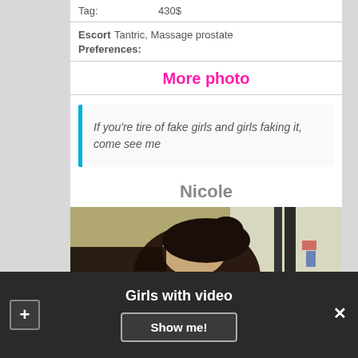Tag: 430$
Escort Preferences: Tantric, Massage prostate
More photo
If you're tire of fake girls and girls faking it, come see me
Nicole
[Figure (photo): Photo of a person with dark hair in a bun, viewed from behind/side, with a blurred background]
Girls with video
Show me!